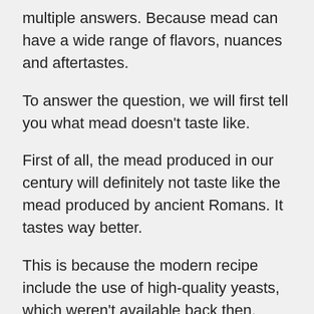multiple answers. Because mead can have a wide range of flavors, nuances and aftertastes.
To answer the question, we will first tell you what mead doesn't taste like.
First of all, the mead produced in our century will definitely not taste like the mead produced by ancient Romans. It tastes way better.
This is because the modern recipe include the use of high-quality yeasts, which weren't available back then.
On the other hand, if made with poor quality products or with the wrong technique, it is very